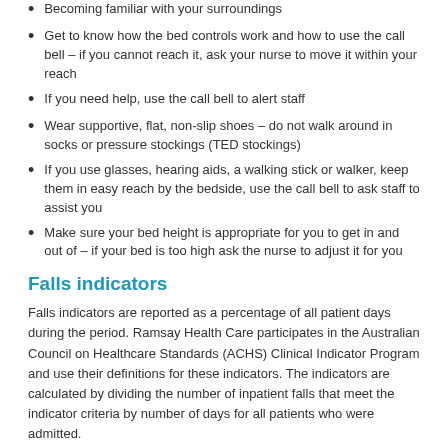Becoming familiar with your surroundings
Get to know how the bed controls work and how to use the call bell – if you cannot reach it, ask your nurse to move it within your reach
If you need help, use the call bell to alert staff
Wear supportive, flat, non-slip shoes – do not walk around in socks or pressure stockings (TED stockings)
If you use glasses, hearing aids, a walking stick or walker, keep them in easy reach by the bedside, use the call bell to ask staff to assist you
Make sure your bed height is appropriate for you to get in and out of – if your bed is too high ask the nurse to adjust it for you
Falls indicators
Falls indicators are reported as a percentage of all patient days during the period. Ramsay Health Care participates in the Australian Council on Healthcare Standards (ACHS) Clinical Indicator Program and use their definitions for these indicators. The indicators are calculated by dividing the number of inpatient falls that meet the indicator criteria by number of days for all patients who were admitted.
Inpatient falls (A Lower rate is better)